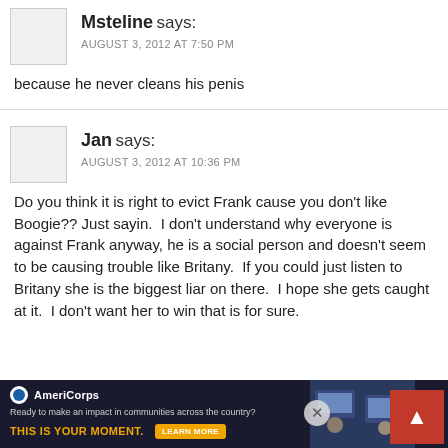Msteline says: AUGUST 3, 2012 AT 7:50 PM
because he never cleans his penis
Jan says: AUGUST 3, 2012 AT 10:36 PM
Do you think it is right to evict Frank cause you don't like Boogie?? Just sayin.  I don't understand why everyone is against Frank anyway, he is a social person and doesn't seem to be causing trouble like Britany.  If you could just listen to Britany she is the biggest liar on there.  I hope she gets caught at it.  I don't want her to win that is for sure.
[Figure (infographic): AmeriCorps advertisement banner: dark navy background with logo, text 'Ready to make an impact in communities across the country? THIS IS YOUR MOMENT.' with a LEARN MORE button, and a photo of people at computers on the right.]